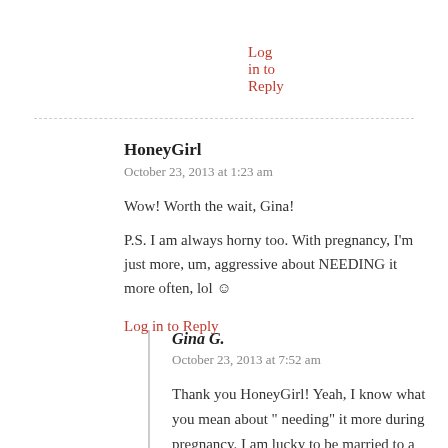Log in to Reply
HoneyGirl
October 23, 2013 at 1:23 am
Wow! Worth the wait, Gina!
P.S. I am always horny too. With pregnancy, I'm just more, um, aggressive about NEEDING it more often, lol ☺
Log in to Reply
Gina G.
October 23, 2013 at 7:52 am
Thank you HoneyGirl! Yeah, I know what you mean about " needing" it more during pregnancy. I am lucky to be married to a man who was and